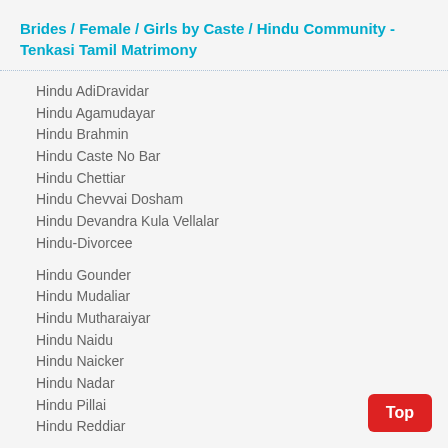Brides / Female / Girls by Caste / Hindu Community - Tenkasi Tamil Matrimony
Hindu AdiDravidar
Hindu Agamudayar
Hindu Brahmin
Hindu Caste No Bar
Hindu Chettiar
Hindu Chevvai Dosham
Hindu Devandra Kula Vellalar
Hindu-Divorcee
Hindu Gounder
Hindu Mudaliar
Hindu Mutharaiyar
Hindu Naidu
Hindu Naicker
Hindu Nadar
Hindu Pillai
Hindu Reddiar
Hindu Second Marriage
Hindu Vaniya Chettiar